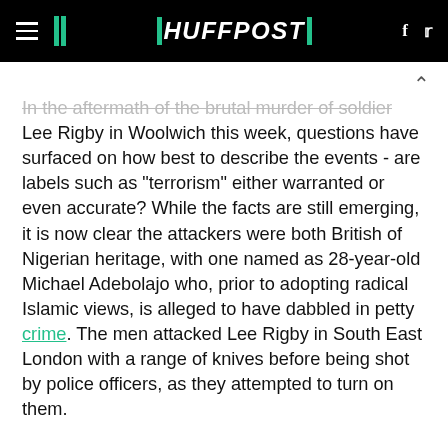HuffPost
In the aftermath of the brutal murder of soldier Lee Rigby in Woolwich this week, questions have surfaced on how best to describe the events - are labels such as "terrorism" either warranted or even accurate? While the facts are still emerging, it is now clear the attackers were both British of Nigerian heritage, with one named as 28-year-old Michael Adebolajo who, prior to adopting radical Islamic views, is alleged to have dabbled in petty crime. The men attacked Lee Rigby in South East London with a range of knives before being shot by police officers, as they attempted to turn on them.